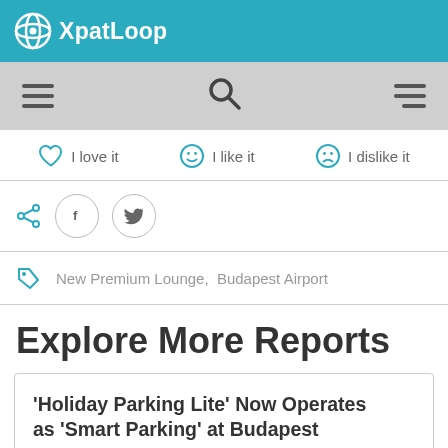XpatLoop
[Figure (screenshot): Navigation bar with hamburger menu, search icon, and right menu icon]
I love it   I like it   I dislike it
Share buttons: share icon, Facebook, Twitter
New Premium Lounge,  Budapest Airport
Explore More Reports
'Holiday Parking Lite' Now Operates as 'Smart Parking' at Budapest